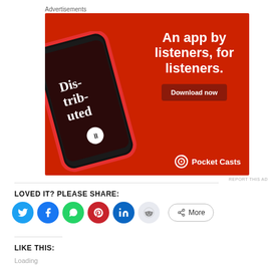Advertisements
[Figure (illustration): Pocket Casts advertisement banner on red background showing a smartphone with the app open displaying 'Distributed' podcast. Text reads 'An app by listeners, for listeners.' with a 'Download now' button and Pocket Casts logo.]
REPORT THIS AD
LOVED IT? PLEASE SHARE:
[Figure (infographic): Social share buttons: Twitter (blue), Facebook (blue), WhatsApp (green), Pinterest (red), LinkedIn (blue), Reddit (light grey), and a More button with share icon.]
LIKE THIS:
Loading